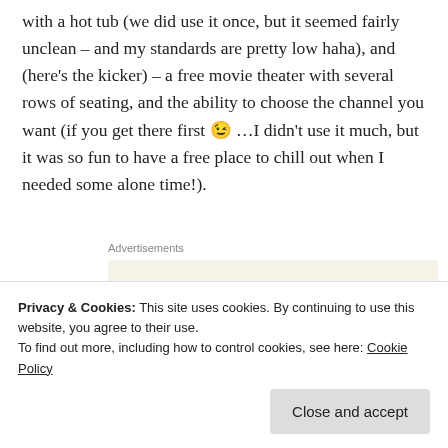with a hot tub (we did use it once, but it seemed fairly unclean – and my standards are pretty low haha), and (here's the kicker) – a free movie theater with several rows of seating, and the ability to choose the channel you want (if you get there first 😉 …I didn't use it much, but it was so fun to have a free place to chill out when I needed some alone time!).
Advertisements
[Figure (screenshot): Advertisement banner with beige background showing text 'Professionally designed sites in less than a week' with decorative card graphics in the bottom right corner.]
Privacy & Cookies: This site uses cookies. By continuing to use this website, you agree to their use.
To find out more, including how to control cookies, see here: Cookie Policy
Close and accept